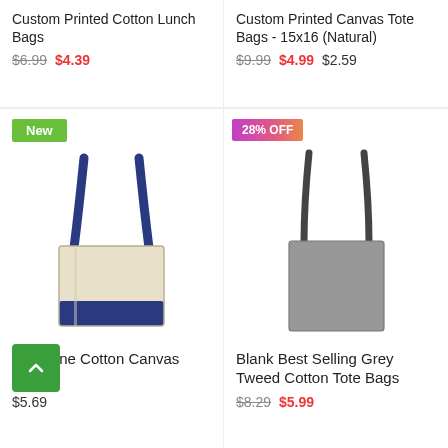Custom Printed Cotton Lunch Bags
$6.99 $4.39
Custom Printed Canvas Tote Bags - 15x16 (Natural)
$9.99 $4.99 $2.59
[Figure (photo): Two-tone cotton canvas tote bag with navy blue handles and base, cream/natural body, with green 'New' badge]
[Figure (photo): Grey tweed cotton tote bag with dark handles, with pink/orange gradient '28% OFF' badge]
Two Tone Cotton Canvas Bags
$5.69
Blank Best Selling Grey Tweed Cotton Tote Bags
$8.29 $5.99